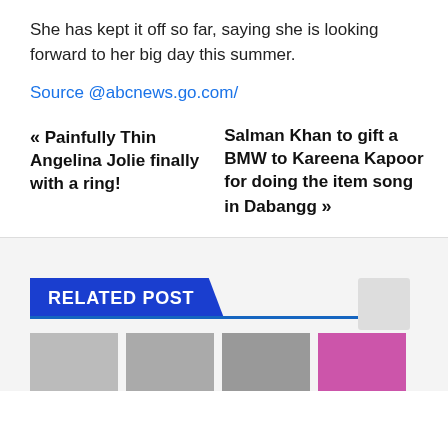She has kept it off so far, saying she is looking forward to her big day this summer.
Source @abcnews.go.com/
« Painfully Thin Angelina Jolie finally with a ring!
Salman Khan to gift a BMW to Kareena Kapoor for doing the item song in Dabangg »
RELATED POST